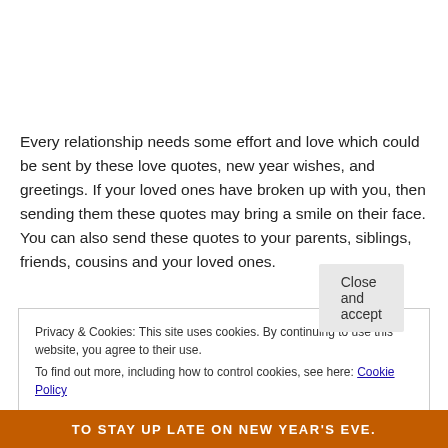Every relationship needs some effort and love which could be sent by these love quotes, new year wishes, and greetings. If your loved ones have broken up with you, then sending them these quotes may bring a smile on their face. You can also send these quotes to your parents, siblings, friends, cousins and your loved ones.
Privacy & Cookies: This site uses cookies. By continuing to use this website, you agree to their use.
To find out more, including how to control cookies, see here: Cookie Policy
Close and accept
[Figure (photo): Orange banner at bottom with white bold text: TO STAY UP LATE ON NEW YEAR'S EVE.]